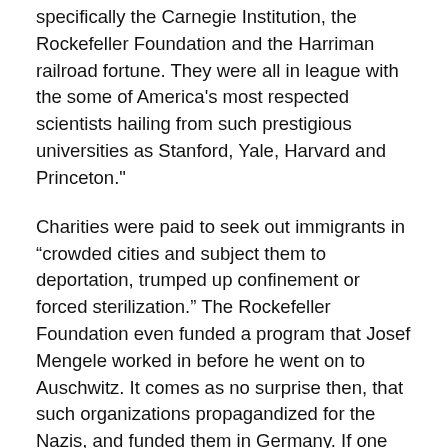specifically the Carnegie Institution, the Rockefeller Foundation and the Harriman railroad fortune. They were all in league with the some of America's most respected scientists hailing from such prestigious universities as Stanford, Yale, Harvard and Princeton."
Charities were paid to seek out immigrants in “crowded cities and subject them to deportation, trumped up confinement or forced sterilization.” The Rockefeller Foundation even funded a program that Josef Mengele worked in before he went on to Auschwitz. It comes as no surprise then, that such organizations propagandized for the Nazis, and funded them in Germany. If one fell beyond the gentrified genetic lines such as those persons who worked, researched and enabled the legal structures of these programs, those deemed weak or unfit were subject to extraction.
In August 1924, California eugenicists arranged for a